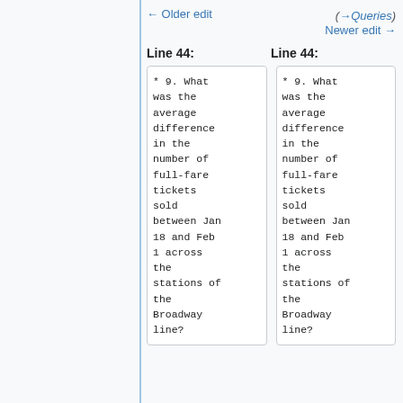← Older edit
(→Queries)
Newer edit →
Line 44:
Line 44:
* 9. What was the average difference in the number of full-fare tickets sold between Jan 18 and Feb 1 across the stations of the Broadway line?
* 9. What was the average difference in the number of full-fare tickets sold between Jan 18 and Feb 1 across the stations of the Broadway line?